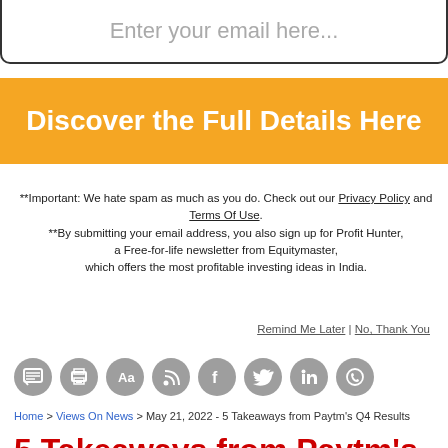[Figure (screenshot): Email input field with placeholder text 'Enter your email here...']
[Figure (screenshot): Orange button with white bold text 'Discover the Full Details Here']
**Important: We hate spam as much as you do. Check out our Privacy Policy and Terms Of Use.
**By submitting your email address, you also sign up for Profit Hunter, a Free-for-life newsletter from Equitymaster, which offers the most profitable investing ideas in India.
Remind Me Later | No, Thank You
[Figure (infographic): Row of social media and utility icon circles: comment/chat, print, font size (Aa), RSS, Facebook, Twitter, LinkedIn, WhatsApp]
Home > Views On News > May 21, 2022 - 5 Takeaways from Paytm's Q4 Results
5 Takeaways from Paytm's Q4 Results